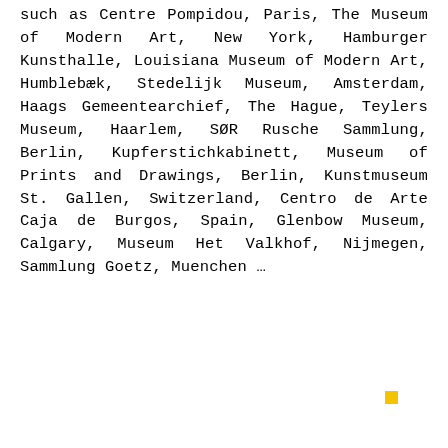such as Centre Pompidou, Paris, The Museum of Modern Art, New York, Hamburger Kunsthalle, Louisiana Museum of Modern Art, Humblebæk, Stedelijk Museum, Amsterdam, Haags Gemeentearchief, The Hague, Teylers Museum, Haarlem, SØR Rusche Sammlung, Berlin, Kupferstichkabinett, Museum of Prints and Drawings, Berlin, Kunstmuseum St. Gallen, Switzerland, Centro de Arte Caja de Burgos, Spain, Glenbow Museum, Calgary, Museum Het Valkhof, Nijmegen, Sammlung Goetz, Muenchen …
[Figure (other): Small yellow square decorative element]